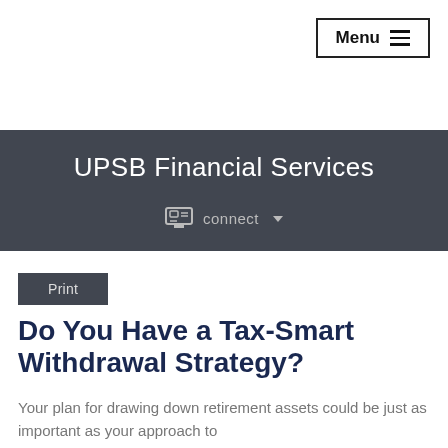Menu
UPSB Financial Services
connect
Print
Do You Have a Tax-Smart Withdrawal Strategy?
Your plan for drawing down retirement assets could be just as important as your approach to accumulating them. For...